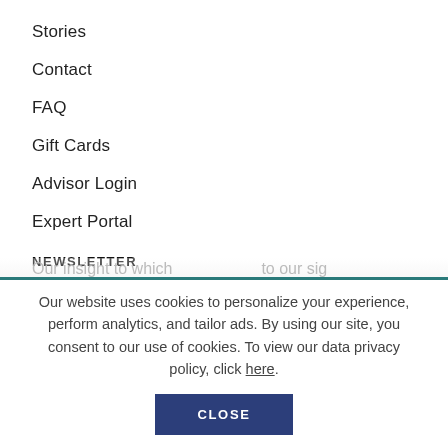Stories
Contact
FAQ
Gift Cards
Advisor Login
Expert Portal
NEWSLETTER
Our website uses cookies to personalize your experience, perform analytics, and tailor ads. By using our site, you consent to our use of cookies. To view our data privacy policy, click here.
CLOSE